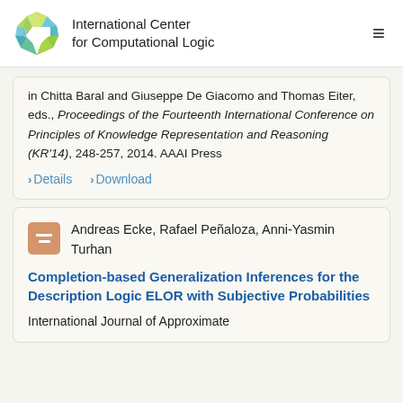International Center for Computational Logic
in Chitta Baral and Giuseppe De Giacomo and Thomas Eiter, eds., Proceedings of the Fourteenth International Conference on Principles of Knowledge Representation and Reasoning (KR'14), 248-257, 2014. AAAI Press
> Details  > Download
Andreas Ecke, Rafael Peñaloza, Anni-Yasmin Turhan
Completion-based Generalization Inferences for the Description Logic ELOR with Subjective Probabilities
International Journal of Approximate